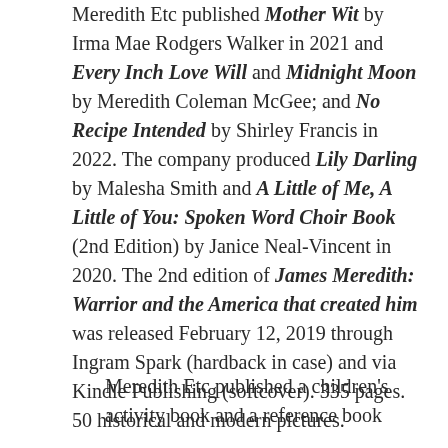Meredith Etc published Mother Wit by Irma Mae Rodgers Walker in 2021 and Every Inch Love Will and Midnight Moon by Meredith Coleman McGee; and No Recipe Intended by Shirley Francis in 2022. The company produced Lily Darling by Malesha Smith and A Little of Me, A Little of You: Spoken Word Choir Book (2nd Edition) by Janice Neal-Vincent in 2020. The 2nd edition of James Meredith: Warrior and the America that created him was released February 12, 2019 through Ingram Spark (hardback in case) and via Kindle Publishing (softcover). 335 pages. 50 historical and modern pictures.
Meredith Etc published a children's activity book and a reference book